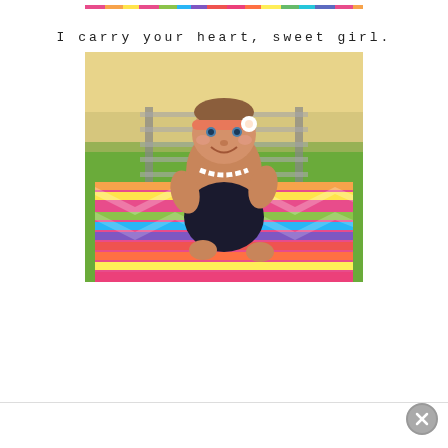[Figure (photo): Colorful patterned rug/blanket strip at top of page — cropped image showing only the bottom portion of a colorful woven blanket outdoors]
I carry your heart, sweet girl.
[Figure (photo): Baby girl wearing a coral/peach headband with a white flower and black bloomers, sitting on a colorful chevron/patterned blanket outdoors near railroad tracks, wearing a pearl necklace]